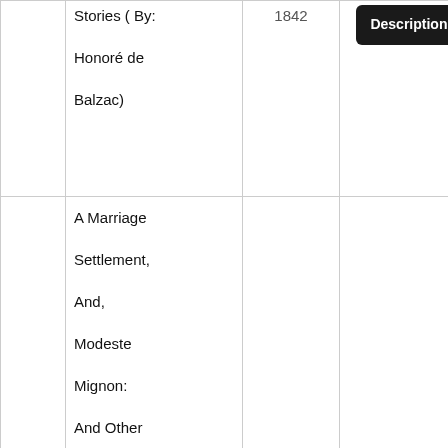| # | Title | Year | Action |
| --- | --- | --- | --- |
| 6 | Stories ( By: Honoré de Balzac) | 1842 | Description / Buy |
| 7 | A Marriage Settlement, And, Modeste Mignon: And Other Stories ( By: Honoré de Balzac) | 1844 | Description / Buy |
| 8 | The Member For Arcis, The Seamy Side Of History, And Other ... | 1847 | Description / Buy |